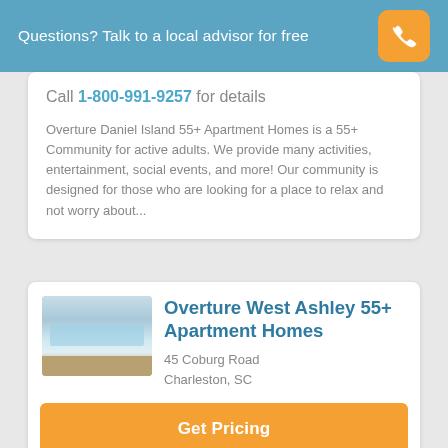Questions? Talk to a local advisor for free
Call 1-800-991-9257 for details
Overture Daniel Island 55+ Apartment Homes is a 55+ Community for active adults. We provide many activities, entertainment, social events, and more! Our community is designed for those who are looking for a place to relax and not worry about...
Overture West Ashley 55+ Apartment Homes
45 Coburg Road
Charleston, SC
Get Pricing
Learn More